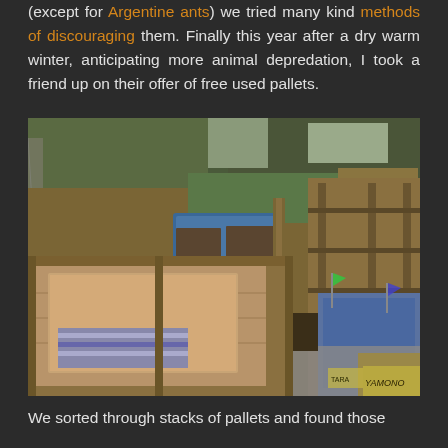(except for Argentine ants) we tried many kind methods of discouraging them. Finally this year after a dry warm winter, anticipating more animal depredation, I took a friend up on their offer of free used pallets.
[Figure (photo): Outdoor garden area showing wooden pallets arranged as raised bed frames with cardboard lining and blue plastic tubs containing soil, surrounded by a chain-link fence with trees and other garden beds in the background.]
We sorted through stacks of pallets and found those